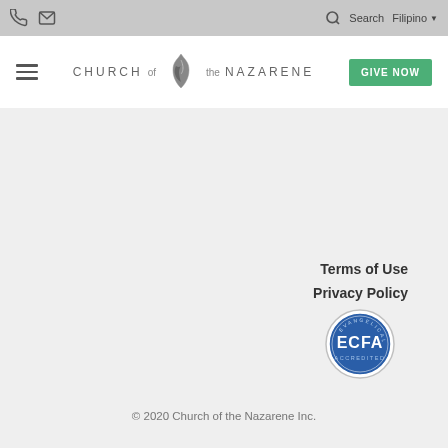Church of the Nazarene website header with phone icon, email icon, search, Filipino language selector, hamburger menu, logo, and Give Now button
Terms of Use
Privacy Policy
[Figure (logo): ECFA Accredited circular badge/seal with blue background and white text]
© 2020 Church of the Nazarene Inc.